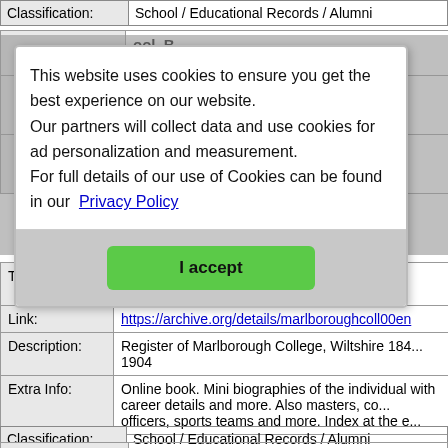| Classification: | School / Educational Records / Alumni |
| --- | --- |
This website uses cookies to ensure you get the best experience on our website. Our partners will collect data and use cookies for ad personalization and measurement. For full details of our use of Cookies can be found in our Privacy Policy
I accept
| Title: | Link: | Description: | Extra Info: |
| --- | --- | --- | --- |
| Title: | School - Register of Marlborough College, Wiltshire |
| Link: | https://archive.org/details/marlboroughcoll00en |
| Description: | Register of Marlborough College, Wiltshire 184... 1904 |
| Extra Info: | Online book. Mini biographies of the individual with career details and more. Also masters, co... officers, sports teams and more. Index at the e... |
| Classification: | School / Educational Records / Alumni |
| --- | --- |
School - Register of Radley College